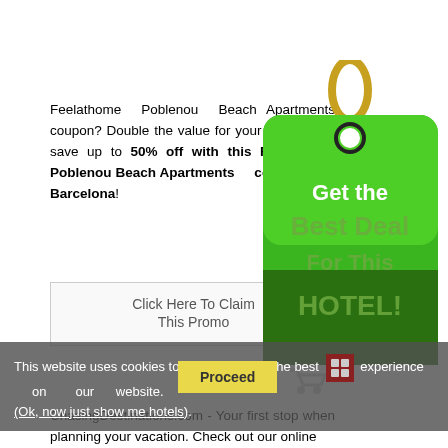Feelathome Poblenou Beach Apartments coupon? Double the value for your budget and save up to 50% off with this Feelathome Poblenou Beach Apartments coupon in Barcelona!
[Figure (illustration): Green price tag with gold ring showing 'Get the Best Deal For This HOTEL! Search NOW' text with shopping cart icon]
Click Here To Claim This Promo
This website uses cookies to ensure you get the best experience on our website. (Ok, now just show me hotels)
Proceed
ChasingDestinations.com - Your first stop when planning your vacation. Check out our online